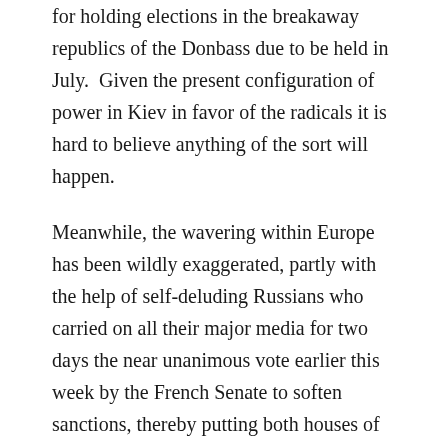for holding elections in the breakaway republics of the Donbass due to be held in July.  Given the present configuration of power in Kiev in favor of the radicals it is hard to believe anything of the sort will happen.
Meanwhile, the wavering within Europe has been wildly exaggerated, partly with the help of self-deluding Russians who carried on all their major media for two days the near unanimous vote earlier this week by the French Senate to soften sanctions, thereby putting both houses of the French legislature on record as opposing the policy of President Hollande and the EU leadership to punish Russia over Ukraine.
By contrast, French major media largely overlooked the vote in their own Senate.